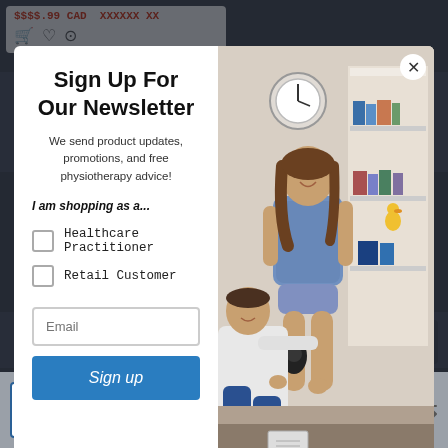[Figure (screenshot): E-commerce website screenshot showing a newsletter sign-up modal popup over a physiotherapy product page. The modal has a left panel with headline 'Sign Up For Our Newsletter', descriptive text, shopping role checkboxes, email input, and sign up button. The right panel shows a photo of a physiotherapist examining a patient's knee. Below the modal is a payment icons bar with VISA and Mastercard, and a bottom bar with quantity selector, Add to Cart button, help button, wishlist, and compare icons.]